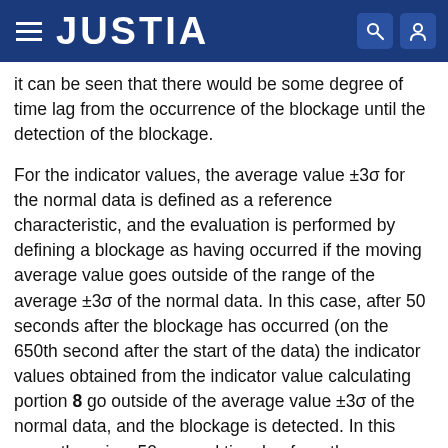JUSTIA
it can be seen that there would be some degree of time lag from the occurrence of the blockage until the detection of the blockage.
For the indicator values, the average value ±3σ for the normal data is defined as a reference characteristic, and the evaluation is performed by defining a blockage as having occurred if the moving average value goes outside of the range of the average ±3σ of the normal data. In this case, after 50 seconds after the blockage has occurred (on the 650th second after the start of the data) the indicator values obtained from the indicator value calculating portion 8 go outside of the average value ±3σ of the normal data, and the blockage is detected. In this case, there is a 50-second time lag from the occurrence of the blockage until the detection of the blockage.